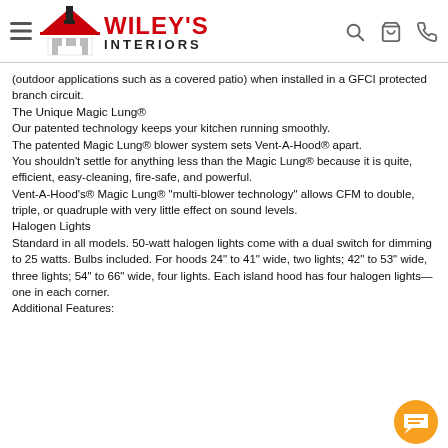Wiley's Interiors - navigation header with logo, search, cart, and phone icons
(outdoor applications such as a covered patio) when installed in a GFCI protected branch circuit.
The Unique Magic Lung®
Our patented technology keeps your kitchen running smoothly.
The patented Magic Lung® blower system sets Vent-A-Hood® apart.
You shouldn't settle for anything less than the Magic Lung® because it is quite, efficient, easy-cleaning, fire-safe, and powerful.
Vent-A-Hood's® Magic Lung® "multi-blower technology" allows CFM to double, triple, or quadruple with very little effect on sound levels.
Halogen Lights
Standard in all models. 50-watt halogen lights come with a dual switch for dimming to 25 watts. Bulbs included. For hoods 24" to 41" wide, two lights; 42" to 53" wide, three lights; 54" to 66" wide, four lights. Each island hood has four halogen lights— one in each corner.
Additional Features: